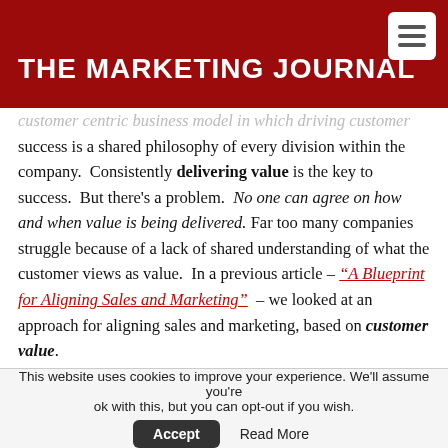THE MARKETING JOURNAL
customer centric business model in which driving customer success is a shared philosophy of every division within the company. Consistently delivering value is the key to success. But there's a problem. No one can agree on how and when value is being delivered. Far too many companies struggle because of a lack of shared understanding of what the customer views as value. In a previous article – "A Blueprint for Aligning Sales and Marketing" – we looked at an approach for aligning sales and marketing, based on customer value.
From the perspective of the customer, we need to start by understanding how they pursue value. This can be achieved
This website uses cookies to improve your experience. We'll assume you're ok with this, but you can opt-out if you wish. Accept Read More